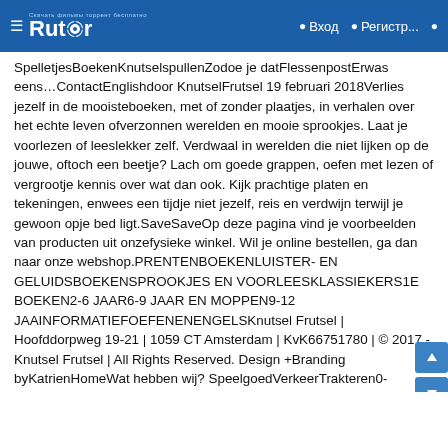Rutor — Вход — Регистр...
SpelletjesBoekenKnutselspullenZodoe je datFlessenpostErwas eens…ContactEnglishdoor KnutselFrutsel 19 februari 2018Verlies jezelf in de mooisteboeken, met of zonder plaatjes, in verhalen over het echte leven ofverzonnen werelden en mooie sprookjes. Laat je voorlezen of leeslekker zelf. Verdwaal in werelden die niet lijken op de jouwe, oftoch een beetje? Lach om goede grappen, oefen met lezen of vergrootje kennis over wat dan ook. Kijk prachtige platen en tekeningen, enwees een tijdje niet jezelf, reis en verdwijn terwijl je gewoon opje bed ligt.SaveSaveOp deze pagina vind je voorbeelden van producten uit onzefysieke winkel. Wil je online bestellen, ga dan naar onze webshop.PRENTENBOEKENLUISTER- EN GELUIDSBOEKENSPROOKJES EN VOORLEESKLASSIEKERS1E BOEKEN2-6 JAAR6-9 JAAR EN MOPPEN9-12 JAARINFORMATIEFOEFENENENGELSKnutsel Frutsel | Hoofddorpweg 19-21 | 1059 CT Amsterdam | KvK66751780 | © 2017 - Knutsel Frutsel | All Rights Reserved. Design +Branding byKatrienHomeWat hebben wij? SpeelgoedVerkeerTrakteren0-